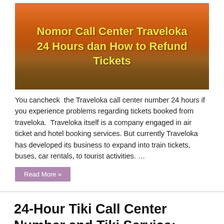[Figure (photo): Orange and sunset-colored banner image with bold yellow text reading 'Nomor Call Center Traveloka 24 Hours dan How to Refund Tickets' on a warm ocean/sky background]
You cancheck  the Traveloka call center number 24 hours if you experience problems regarding tickets booked from traveloka.  Traveloka itself is a company engaged in air ticket and hotel booking services. But currently Traveloka has developed its business to expand into train tickets, buses, car rentals, to tourist activities. …
Read More »
24-Hour Tiki Call Center Number and Tiki Service: IDLIX
[Figure (photo): Bottom partial banner image with warm golden-brown gradient background, partially visible]